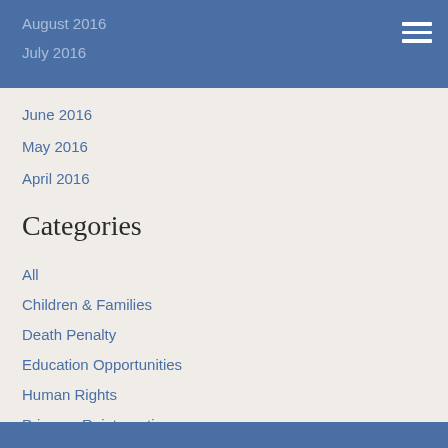August 2016
July 2016
June 2016
May 2016
April 2016
Categories
All
Children & Families
Death Penalty
Education Opportunities
Human Rights
Prisoner Reintegration
Refugees & Immigration
Stewardship/Earth Care
RSS Feed